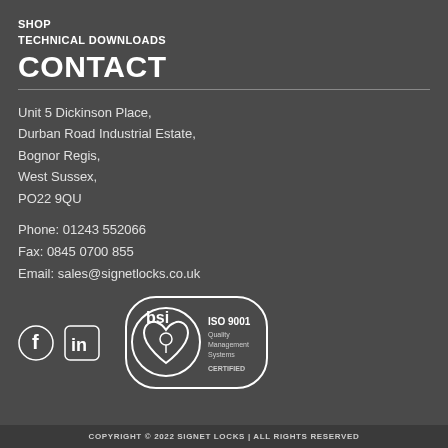SHOP
TECHNICAL DOWNLOADS
CONTACT
Unit 5 Dickinson Place,
Durban Road Industrial Estate,
Bognor Regis,
West Sussex,
PO22 9QU
Phone: 01243 552066
Fax: 0845 0700 855
Email: sales@signetlocks.co.uk
[Figure (logo): Facebook and LinkedIn social media icons, and BSI ISO 9001 Quality Management Systems Certified logo]
COPYRIGHT © 2022 SIGNET LOCKS | ALL RIGHTS RESERVED